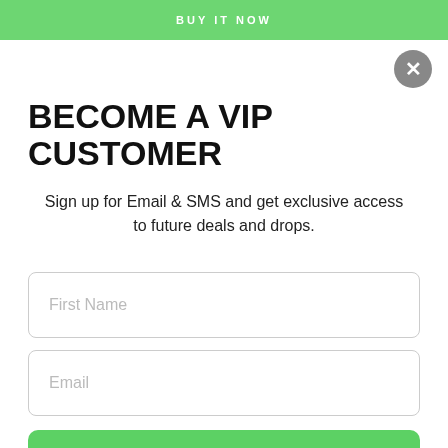BUY IT NOW
BECOME A VIP CUSTOMER
Sign up for Email & SMS and get exclusive access to future deals and drops.
[Figure (screenshot): First Name input field (empty, placeholder text)]
[Figure (screenshot): Email input field (empty, placeholder text)]
[Figure (screenshot): Green Sign me up! button]